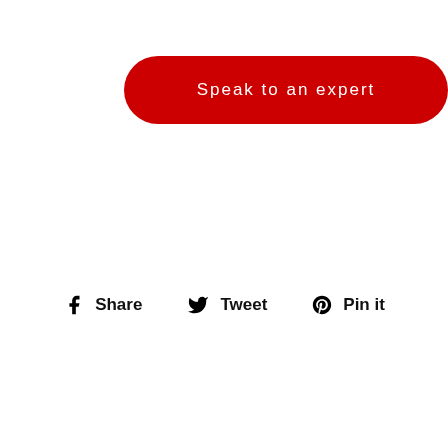Speak to an expert
Share   Tweet   Pin it
DESCRIPTION
MENU